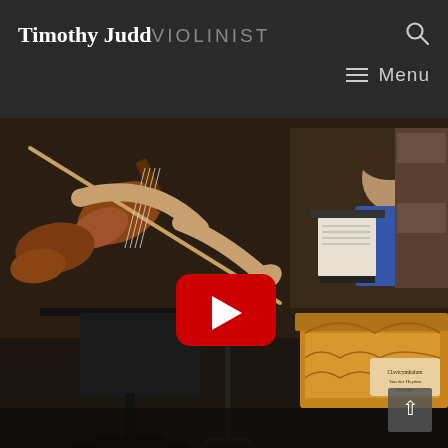Timothy Judd VIOLINIST
[Figure (screenshot): YouTube video thumbnail showing a chamber music performance with violinists in the foreground and a harpsichordist in the background, with a YouTube play button overlay in the center]